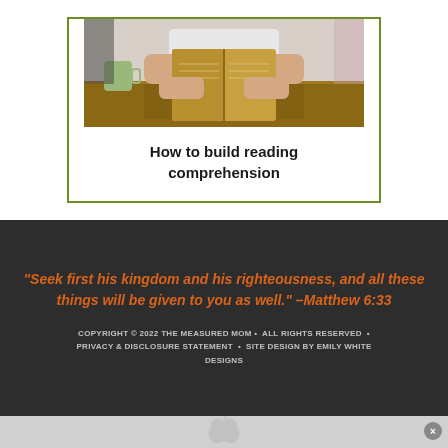[Figure (photo): Person sitting at a desk reading/holding an open book, viewed from the chest down, showing hands holding the book open]
How to build reading comprehension
“Seek first his kingdom and his righteousness, and all these things will be given to you as well.” –Matthew 6:33
COPYRIGHT © 2022 THE MEASURED MOM • ALL RIGHTS RESERVED • PRIVACY & DISCLOSURE STATEMENT • SITE DESIGN BY EMILY WHITE DESIGNS